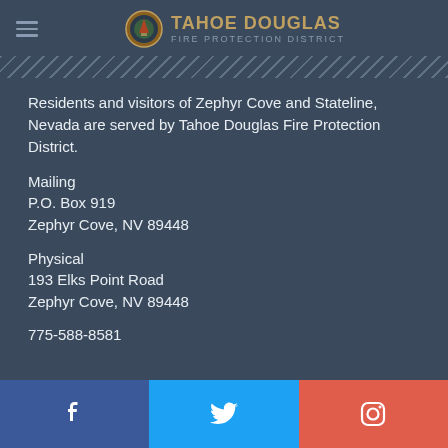TAHOE DOUGLAS FIRE PROTECTION DISTRICT
Residents and visitors of Zephyr Cove and Stateline, Nevada are served by Tahoe Douglas Fire Protection District.
Mailing
P.O. Box 919
Zephyr Cove, NV 89448
Physical
193 Elks Point Road
Zephyr Cove, NV 89448
775-588-0581
[Figure (infographic): Social media footer bar with Facebook, Twitter, and Instagram icons]